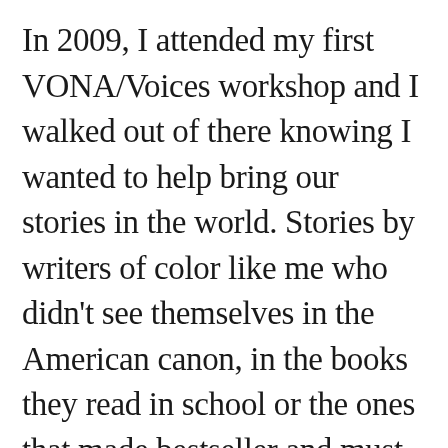In 2009, I attended my first VONA/Voices workshop and I walked out of there knowing I wanted to help bring our stories in the world. Stories by writers of color like me who didn't see themselves in the American canon, in the books they read in school or the ones that made bestseller and must-read lists. Writing Our Lives is my way of helping to bring our stories into the world.